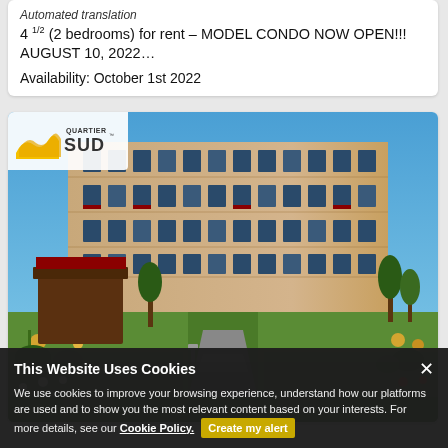Automated translation
4 1/2 (2 bedrooms) for rent – MODEL CONDO NOW OPEN!!! AUGUST 10, 2022…
Availability: October 1st 2022
[Figure (photo): Exterior photo of a modern multi-storey condominium building (Quartier Sud) with balconies, surrounded by a landscaped garden path with trees and flowers under a blue sky. Quartier Sud logo overlaid in the top-left corner.]
This Website Uses Cookies
We use cookies to improve your browsing experience, understand how our platforms are used and to show you the most relevant content based on your interests. For more details, see our Cookie Policy. Create my alert